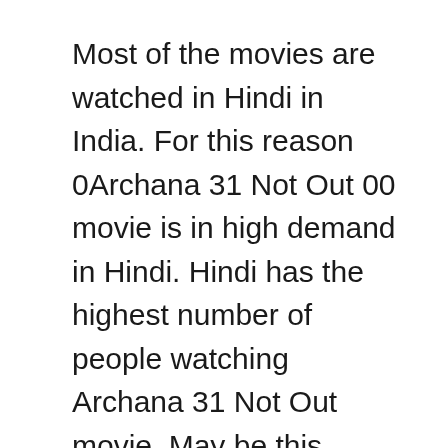Most of the movies are watched in Hindi in India. For this reason 0Archana 31 Not Out 00 movie is in high demand in Hindi. Hindi has the highest number of people watching Archana 31 Not Out movie. May be this movie will come a little late in Hindi.
Every Tamil Movie is Dubbed in Hindi. Because the users who see in Hindi language are very many. After the release of Archana 31 Not Out movie, the work of dubbing it in Hindi started going on. You can also download this movie in Hindi. Apart from India, is seen in many other countries, such as Nepal, Bhutan, Pakistan, Bangladesh.